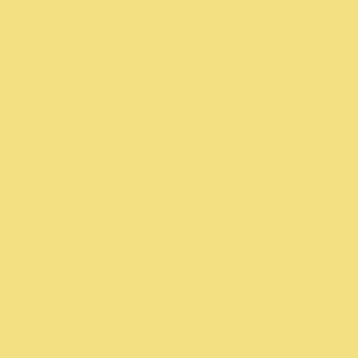Although I have to say, 24" str a 21.5" iMac and a 27" NEC m latter is fine there's something don't do photo editing on it, an the only thing I don't need is a just be harder to wrangle and screen real estate. And who re image and your palettes, don't people who use three screens.
It mystifies me that Apple insis your office is a showplace, and number of ports it affords you card slot and DVD drive. Doe more ports and built-in feature
But then, I value practicality a (real) desktop has migrated sl save the computer itself—my c speakers, dock/cardreader, and